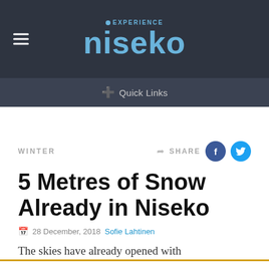EXPERIENCE niseko
Quick Links
WINTER
SHARE
5 Metres of Snow Already in Niseko
28 December, 2018  Sofie Lahtinen
The skies have already opened with